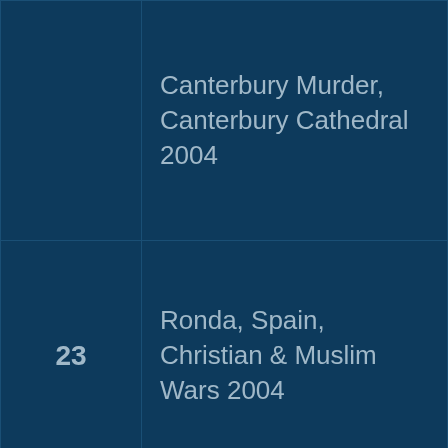| # | Description |
| --- | --- |
|  | Canterbury Murder, Canterbury Cathedral 2004 |
| 23 | Ronda, Spain, Christian & Muslim Wars 2004 |
| 24 | Hvar Fortress, Croatia (Top of 100s of steps) 2004 |
| 25 | Montenegro – Scene of Baltic Wars 2004 |
| 26 | Dubrovnic, Croatia – Memorial Museum for |